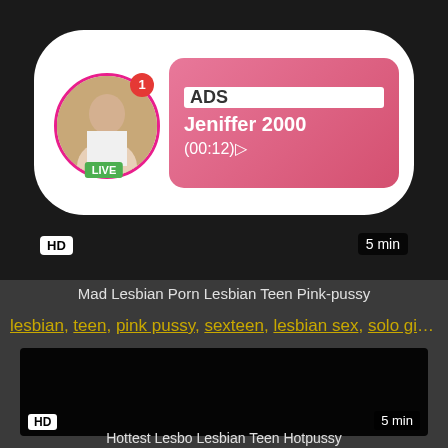[Figure (screenshot): Ad banner with live video thumbnail showing a woman with LIVE badge, ADS label, username Jeniffer 2000, time (00:12), HD badge, and 5 min duration]
Mad Lesbian Porn Lesbian Teen Pink-pussy
lesbian, teen, pink pussy, sexteen, lesbian sex, solo girl, 8...
[Figure (screenshot): Dark/black video thumbnail with HD badge bottom-left and 5 min duration bottom-right]
Hottest Lesbo Lesbian Teen Hotpussy